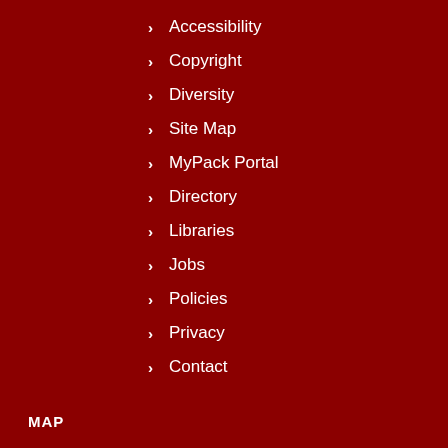Accessibility
Copyright
Diversity
Site Map
MyPack Portal
Directory
Libraries
Jobs
Policies
Privacy
Contact
MAP